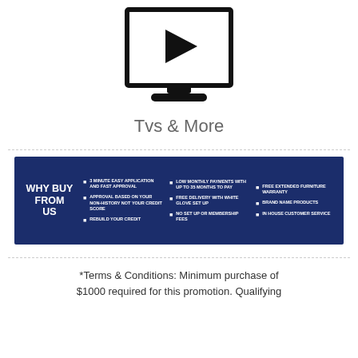[Figure (illustration): TV/monitor icon with a play button triangle in center, shown as outline drawing with a stand]
Tvs & More
[Figure (infographic): Dark blue 'Why Buy From Us' banner listing benefits: 3 Minute Easy Application and Fast Approval, Approval Based on Your Non-History Not Your Credit Score, Rebuild Your Credit, Low Monthly Payments With Up To 35 Months To Pay, Free Delivery with White Glove Set Up, No Set Up or Membership Fees, Free Extended Furniture Warranty, Brand Name Products, In House Customer Service]
*Terms & Conditions: Minimum purchase of $1000 required for this promotion. Qualifying